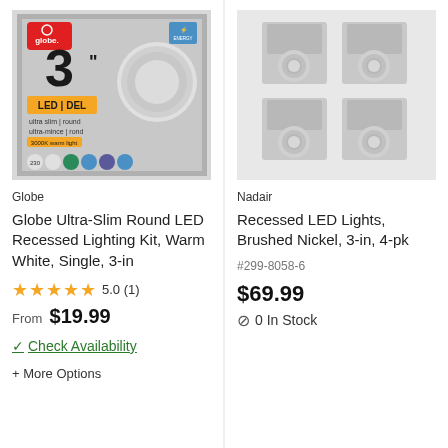[Figure (photo): Globe Ultra-Slim Round LED Recessed Lighting Kit product box image showing 3" LED DEL ultra slim round, warm white 3000K]
Globe
Globe Ultra-Slim Round LED Recessed Lighting Kit, Warm White, Single, 3-in
★★★★★ 5.0 (1)
From $19.99
✓ Check Availability
+ More Options
[Figure (photo): Four brushed nickel recessed LED light fixtures arranged in 2x2 grid]
Nadair
Recessed LED Lights, Brushed Nickel, 3-in, 4-pk
#299-8058-6
$69.99
⊘ 0 In Stock